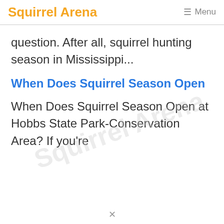Squirrel Arena  ☰ Menu
question. After all, squirrel hunting season in Mississippi...
When Does Squirrel Season Open
When Does Squirrel Season Open at Hobbs State Park-Conservation Area? If you're